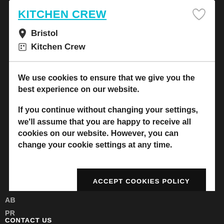KITCHEN CREW
Bristol
Kitchen Crew
We use cookies to ensure that we give you the best experience on our website.
If you continue without changing your settings, we'll assume that you are happy to receive all cookies on our website. However, you can change your cookie settings at any time.
ACCEPT COOKIES POLICY
AB
PR
CONTACT US